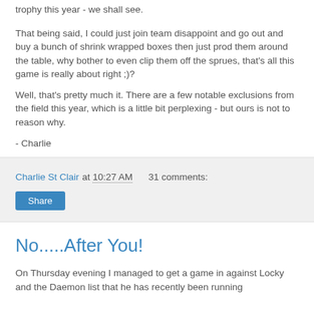trophy this year - we shall see.
That being said, I could just join team disappoint and go out and buy a bunch of shrink wrapped boxes then just prod them around the table, why bother to even clip them off the sprues, that's all this game is really about right ;)?
Well, that's pretty much it. There are a few notable exclusions from the field this year, which is a little bit perplexing - but ours is not to reason why.
- Charlie
Charlie St Clair at 10:27 AM   31 comments:
Share
No.....After You!
On Thursday evening I managed to get a game in against Locky and the Daemon list that he has recently been running